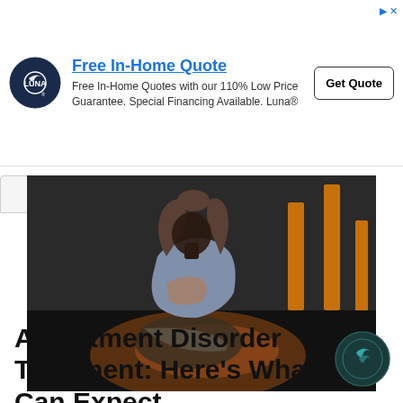[Figure (other): Luna flooring advertisement banner with logo, text about Free In-Home Quote, and Get Quote button]
[Figure (photo): A person sitting against a couch in a dark room with hands clasped over their head, appearing distressed, with warm orange lighting accents]
Adjustment Disorder Treatment: Here’s What One Can Expect